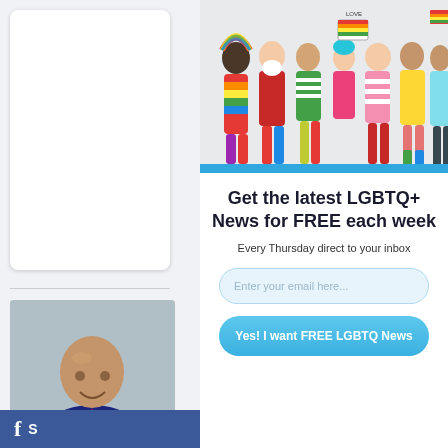[Figure (photo): Group of diverse people in colorful clothing holding LGBTQ+ pride signs and rainbow flags]
[Figure (photo): Portrait of a bald man in a suit smiling]
[Figure (photo): Book cover - partially visible with text HY VE ID T... ANY GI TUESD LIS SM MILLER]
[Figure (photo): Another person photo partially visible]
Get the latest LGBTQ+ News for FREE each week
Every Thursday direct to your inbox
Enter your email here...
Yes! I want FREE LGBTQ News
[Figure (logo): Facebook logo with letter f and partial text S]